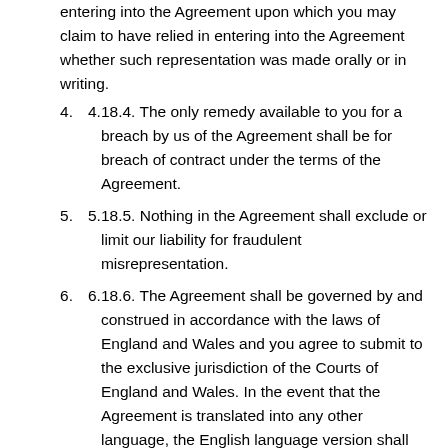entering into the Agreement upon which you may claim to have relied in entering into the Agreement whether such representation was made orally or in writing.
18.4. The only remedy available to you for a breach by us of the Agreement shall be for breach of contract under the terms of the Agreement.
18.5. Nothing in the Agreement shall exclude or limit our liability for fraudulent misrepresentation.
18.6. The Agreement shall be governed by and construed in accordance with the laws of England and Wales and you agree to submit to the exclusive jurisdiction of the Courts of England and Wales. In the event that the Agreement is translated into any other language, the English language version shall prevail.
18.7. If...